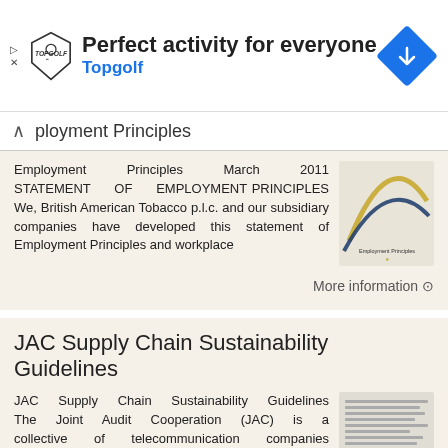[Figure (screenshot): Topgolf advertisement banner with logo, title 'Perfect activity for everyone', subtitle 'Topgolf', and a blue navigation icon]
ployment Principles
Employment Principles March 2011 STATEMENT OF EMPLOYMENT PRINCIPLES We, British American Tobacco p.l.c. and our subsidiary companies have developed this statement of Employment Principles and workplace
[Figure (illustration): Employment Principles document cover image with gold/blue arc design]
More information →
JAC Supply Chain Sustainability Guidelines
JAC Supply Chain Sustainability Guidelines The Joint Audit Cooperation (JAC) is a collective of telecommunication companies aiming to promote safe and fair working conditions as well as responsible, social
[Figure (screenshot): JAC Supply Chain Sustainability Guidelines document preview thumbnail]